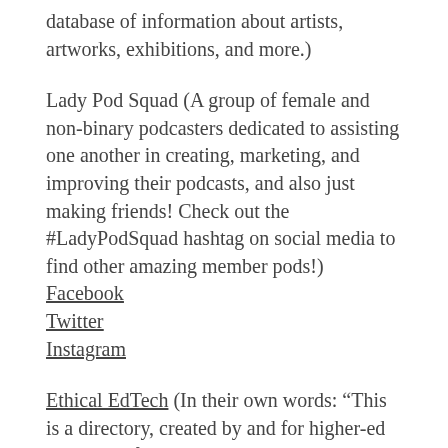database of information about artists, artworks, exhibitions, and more.)
Lady Pod Squad (A group of female and non-binary podcasters dedicated to assisting one another in creating, marketing, and improving their podcasts, and also just making friends! Check out the #LadyPodSquad hashtag on social media to find other amazing member pods!)
Facebook
Twitter
Instagram
Ethical EdTech (In their own words: “This is a directory, created by and for higher-ed educators, for sharing tools and use-cases. We believe that education can be a critical site through which to transform the broader tech industry and the cultures surrounding it.”)